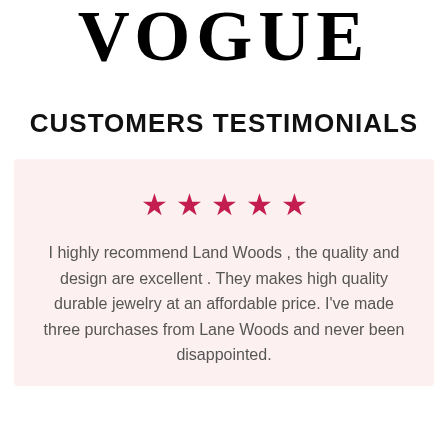[Figure (logo): VOGUE magazine logo in large serif bold black lettering]
CUSTOMERS TESTIMONIALS
★★★★★
I highly recommend Land Woods , the quality and design are excellent . They makes high quality durable jewelry at an affordable price. I've made three purchases from Lane Woods and never been disappointed.